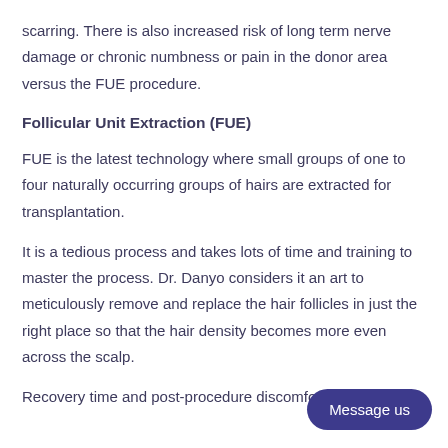scarring. There is also increased risk of long term nerve damage or chronic numbness or pain in the donor area versus the FUE procedure.
Follicular Unit Extraction (FUE)
FUE is the latest technology where small groups of one to four naturally occurring groups of hairs are extracted for transplantation.
It is a tedious process and takes lots of time and training to master the process. Dr. Danyo considers it an art to meticulously remove and replace the hair follicles in just the right place so that the hair density becomes more even across the scalp.
Recovery time and post-procedure discomfo…